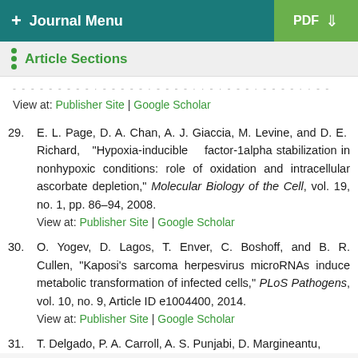+ Journal Menu | PDF
Article Sections
View at: Publisher Site | Google Scholar
29. E. L. Page, D. A. Chan, A. J. Giaccia, M. Levine, and D. E. Richard, "Hypoxia-inducible factor-1alpha stabilization in nonhypoxic conditions: role of oxidation and intracellular ascorbate depletion," Molecular Biology of the Cell, vol. 19, no. 1, pp. 86–94, 2008. View at: Publisher Site | Google Scholar
30. O. Yogev, D. Lagos, T. Enver, C. Boshoff, and B. R. Cullen, "Kaposi's sarcoma herpesvirus microRNAs induce metabolic transformation of infected cells," PLoS Pathogens, vol. 10, no. 9, Article ID e1004400, 2014. View at: Publisher Site | Google Scholar
31. T. Delgado, P. A. Carroll, A. S. Punjabi, D. Margineantu,